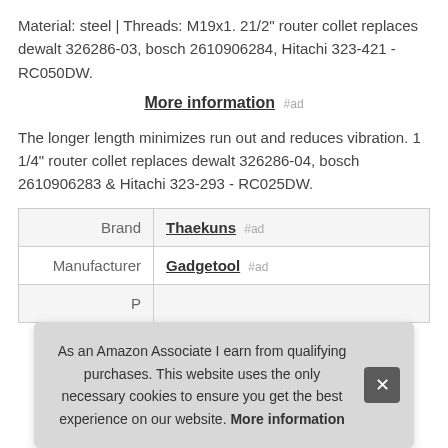Material: steel | Threads: M19x1. 21/2" router collet replaces dewalt 326286-03, bosch 2610906284, Hitachi 323-421 - RC050DW.
More information #ad
The longer length minimizes run out and reduces vibration. 1 1/4" router collet replaces dewalt 326286-04, bosch 2610906283 & Hitachi 323-293 - RC025DW.
|  |  |
| --- | --- |
| Brand | Thaekuns #ad |
| Manufacturer | Gadgetool #ad |
| P |  |
As an Amazon Associate I earn from qualifying purchases. This website uses the only necessary cookies to ensure you get the best experience on our website. More information